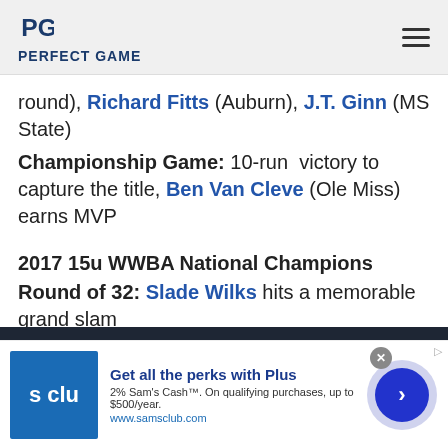PERFECT GAME
round), Richard Fitts (Auburn), J.T. Ginn (MS State)
Championship Game: 10-run victory to capture the title, Ben Van Cleve (Ole Miss) earns MVP
2017 15u WWBA National Champions
Round of 32: Slade Wilks hits a memorable grand slam
ven
This website uses cookies to ensure you get the
[Figure (other): Sam's Club advertisement: Get all the perks with Plus. 2% Sam's Cash. On qualifying purchases, up to $500/year. www.samsclub.com]